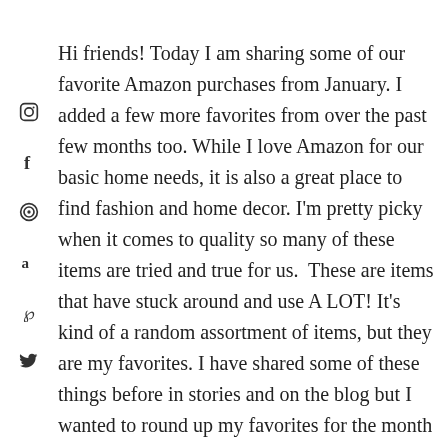Hi friends! Today I am sharing some of our favorite Amazon purchases from January. I added a few more favorites from over the past few months too. While I love Amazon for our basic home needs, it is also a great place to find fashion and home decor. I'm pretty picky when it comes to quality so many of these items are tried and true for us.  These are items that have stuck around and use A LOT! It's kind of a random assortment of items, but they are my favorites. I have shared some of these things before in stories and on the blog but I wanted to round up my favorites for the month and I would love to do these each month going forward! Also, if you saw my IG stories last night, I peeped a cute "shacket". Scroll down to get the link!